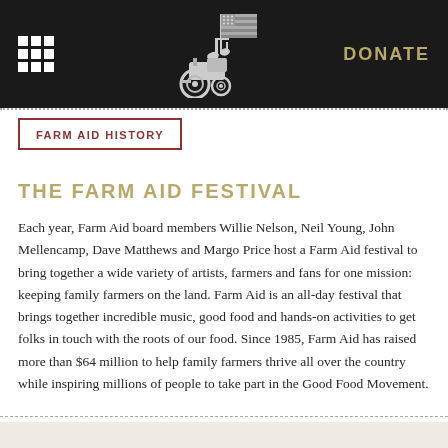DONATE
FARM AID HISTORY
THE FARM AID FESTIVAL
Each year, Farm Aid board members Willie Nelson, Neil Young, John Mellencamp, Dave Matthews and Margo Price host a Farm Aid festival to bring together a wide variety of artists, farmers and fans for one mission: keeping family farmers on the land. Farm Aid is an all-day festival that brings together incredible music, good food and hands-on activities to get folks in touch with the roots of our food. Since 1985, Farm Aid has raised more than $64 million to help family farmers thrive all over the country while inspiring millions of people to take part in the Good Food Movement.